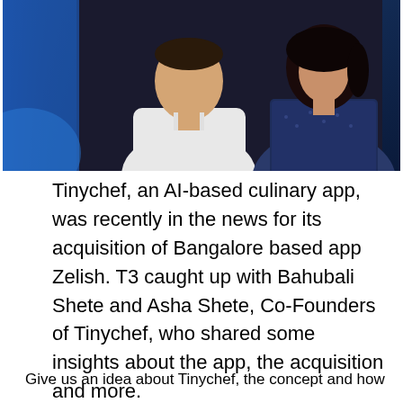[Figure (photo): Two people standing side by side. On the left, a man in a white shirt with arms crossed. On the right, a woman in a dark blue patterned outfit. Background is dark with a blue tint.]
Tinychef, an AI-based culinary app, was recently in the news for its acquisition of Bangalore based app Zelish. T3 caught up with Bahubali Shete and Asha Shete, Co-Founders of Tinychef, who shared some insights about the app, the acquisition and more.
Give us an idea about Tinychef, the concept and how